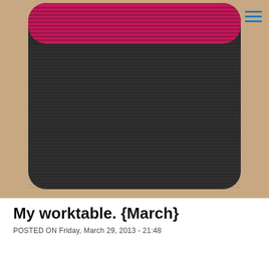[Figure (photo): A textile or mixed-media artwork on a tan/sandy background. The piece shows a large rounded-rectangle shape filled with dense horizontal black lines (hatching), resembling a dark charcoal or graphite drawing on fabric or paper. The top portion has a vivid magenta/hot-pink band with black horizontal line texture. The overall piece has a slightly three-dimensional, textured surface with frayed or fibrous edges.]
My worktable. {March}
POSTED ON Friday, March 29, 2013 - 21:48